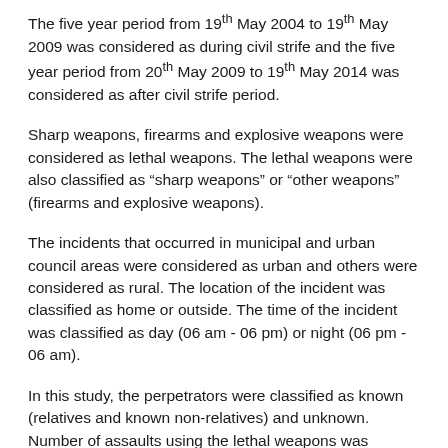The five year period from 19th May 2004 to 19th May 2009 was considered as during civil strife and the five year period from 20th May 2009 to 19th May 2014 was considered as after civil strife period.
Sharp weapons, firearms and explosive weapons were considered as lethal weapons. The lethal weapons were also classified as “sharp weapons” or “other weapons” (firearms and explosive weapons).
The incidents that occurred in municipal and urban council areas were considered as urban and others were considered as rural. The location of the incident was classified as home or outside. The time of the incident was classified as day (06 am - 06 pm) or night (06 pm - 06 am).
In this study, the perpetrators were classified as known (relatives and known non-relatives) and unknown. Number of assaults using the lethal weapons was classified as single or multiple assaults (2, 3, 4, 5 or more than 5). The